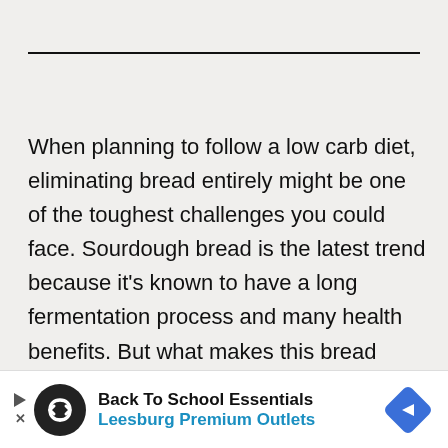When planning to follow a low carb diet, eliminating bread entirely might be one of the toughest challenges you could face. Sourdough bread is the latest trend because it's known to have a long fermentation process and many health benefits. But what makes this bread different from other bread? And, more importantly, is it low carb?
[Figure (other): Advertisement banner: Back To School Essentials - Leesburg Premium Outlets, with logo icon and diamond navigation icon]